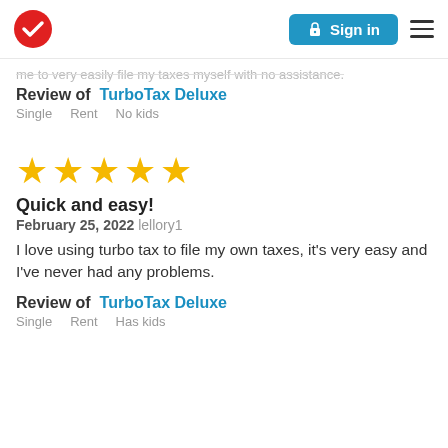TurboTax Sign in [menu]
me to very easily file my taxes myself with no assistance.
Review of  TurboTax Deluxe
Single    Rent    No kids
[Figure (other): Five gold stars rating]
Quick and easy!
February 25, 2022  lellory1
I love using turbo tax to file my own taxes, it's very easy and I've never had any problems.
Review of  TurboTax Deluxe
Single    Rent    Has kids